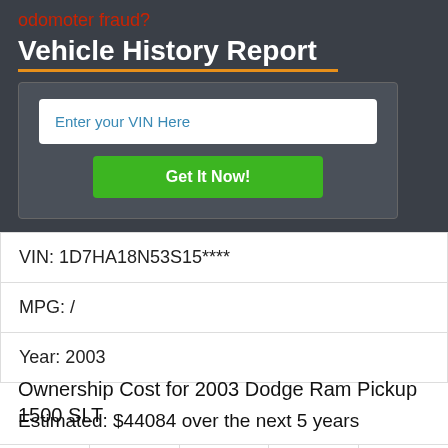odomoter fraud?
Vehicle History Report
Enter your VIN Here
Get It Now!
| VIN: 1D7HA18N53S15**** |
| MPG: / |
| Year: 2003 |
Ownership Cost for 2003 Dodge Ram Pickup 1500 SLT
Estimated: $44084 over the next 5 years